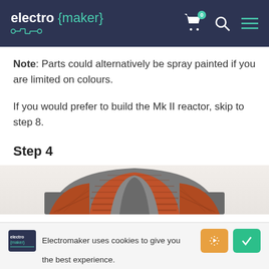electro{maker}
Note: Parts could alternatively be spray painted if you are limited on colours.
If you would prefer to build the Mk II reactor, skip to step 8.
Step 4
[Figure (photo): Top portion of a circular coil/reactor component with orange and grey winding materials, partially visible at the bottom of the page]
Electromaker uses cookies to give you the best experience.